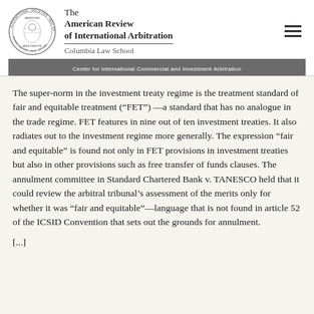The American Review of International Arbitration — Columbia Law School — Center for International Commercial and Investment Arbitration
The super-norm in the investment treaty regime is the treatment standard of fair and equitable treatment (“FET”) —a standard that has no analogue in the trade regime. FET features in nine out of ten investment treaties. It also radiates out to the investment regime more generally. The expression “fair and equitable” is found not only in FET provisions in investment treaties but also in other provisions such as free transfer of funds clauses. The annulment committee in Standard Chartered Bank v. TANESCO held that it could review the arbitral tribunal’s assessment of the merits only for whether it was “fair and equitable”—language that is not found in article 52 of the ICSID Convention that sets out the grounds for annulment.
[...]